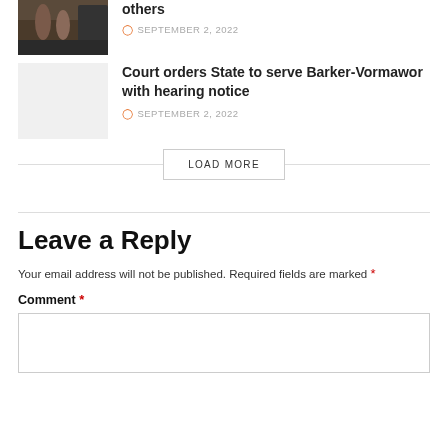[Figure (photo): Partial thumbnail image of people near a vehicle, partially cropped at top]
others
SEPTEMBER 2, 2022
[Figure (photo): Light gray placeholder thumbnail image]
Court orders State to serve Barker-Vormawor with hearing notice
SEPTEMBER 2, 2022
LOAD MORE
Leave a Reply
Your email address will not be published. Required fields are marked *
Comment *